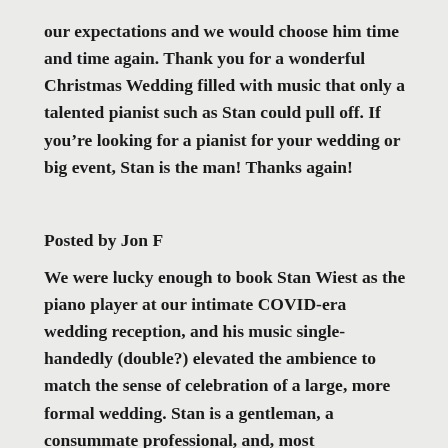our expectations and we would choose him time and time again. Thank you for a wonderful Christmas Wedding filled with music that only a talented pianist such as Stan could pull off. If you’re looking for a pianist for your wedding or big event, Stan is the man! Thanks again!
Posted by Jon F
We were lucky enough to book Stan Wiest as the piano player at our intimate COVID-era wedding reception, and his music single-handedly (double?) elevated the ambience to match the sense of celebration of a large, more formal wedding. Stan is a gentleman, a consummate professional, and, most importantly, an extremely talented solo pianist (for those who know the reference, think Carmen Cavallaro in musical style and dexterity). Stan played enjoyable